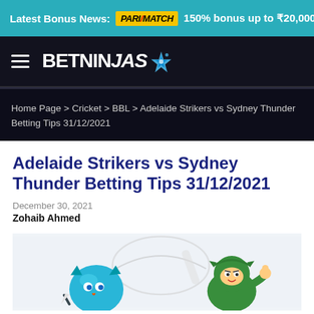Latest Bonus News: PARIMATCH 150% bonus up to ₹20,000 betwa...
[Figure (logo): BetNinjas logo with hamburger menu icon and ninja star graphic]
Home Page > Cricket > BBL > Adelaide Strikers vs Sydney Thunder Betting Tips 31/12/2021
Adelaide Strikers vs Sydney Thunder Betting Tips 31/12/2021
December 30, 2021
Zohaib Ahmed
[Figure (illustration): Cartoon ninja characters - a blue cricket ball ninja and a green ninja with thumbs up, with a cricket ball and bat in the background]